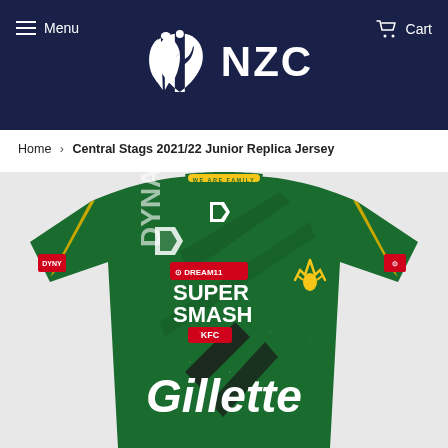Menu   Cart
[Figure (logo): NZC (New Zealand Cricket) logo — white fern leaf icon followed by white text 'NZC' on dark navy background]
Home › Central Stags 2021/22 Junior Replica Jersey
[Figure (photo): Central Stags 2021/22 Junior Replica Jersey — green cricket jersey with Super Smash / Dream11 / KFC branding, Gillette sponsor on front, yellow stag logo on chest, Dynasty sportswear brand marks]